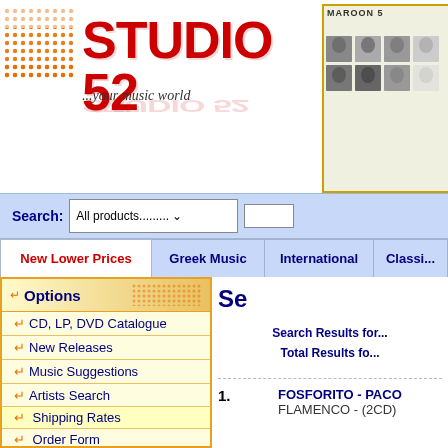[Figure (logo): Studio 52 music store logo with orange dot grid and red bold text, tagline '...your music world']
[Figure (photo): Maroon 5 band member photo grid panel in top right corner]
Search: All products......... [dropdown] [search input]
New Lower Prices | Greek Music | International | Classi...
Options
CD, LP, DVD Catalogue
New Releases
Music Suggestions
Artists Search
How To Order
Shipping Rates
Order Form
F.A.Q.
Contact us
Se...
Search Results for...
Total Results fo...
1.  FOSFORITO - PACO
    FLAMENCO - (2CD)